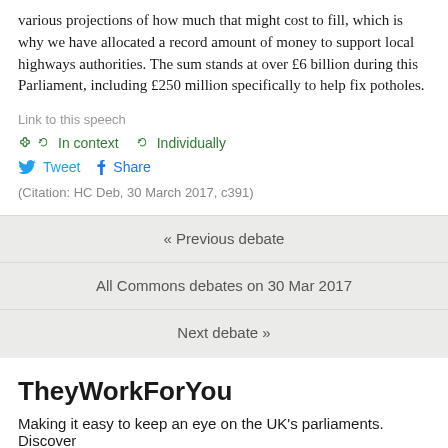various projections of how much that might cost to fill, which is why we have allocated a record amount of money to support local highways authorities. The sum stands at over £6 billion during this Parliament, including £250 million specifically to help fix potholes.
Link to this speech
In context   Individually
Tweet   Share
(Citation: HC Deb, 30 March 2017, c391)
« Previous debate
All Commons debates on 30 Mar 2017
Next debate »
TheyWorkForYou
Making it easy to keep an eye on the UK's parliaments. Discover